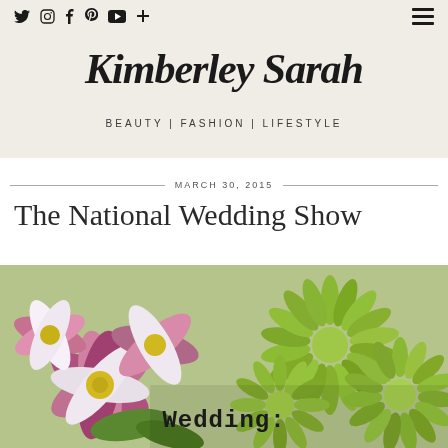Twitter | Instagram | Facebook | Pinterest | YouTube | Plus | Menu
Kimberley Sarah
BEAUTY | FASHION | LIFESTYLE
MARCH 30, 2015
The National Wedding Show
[Figure (photo): Close-up photo of pink/purple and white flowers on the left and bright green chrysanthemums on the right, with text overlay reading 'Wedding:' partially visible at bottom]
Wedding: